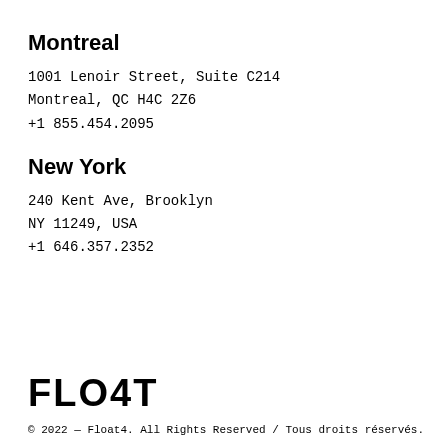Montreal
1001 Lenoir Street, Suite C214
Montreal, QC H4C 2Z6
+1 855.454.2095
New York
240 Kent Ave, Brooklyn
NY 11249, USA
+1 646.357.2352
[Figure (logo): FLO4T company logo in bold black text]
© 2022 — Float4. All Rights Reserved / Tous droits réservés.